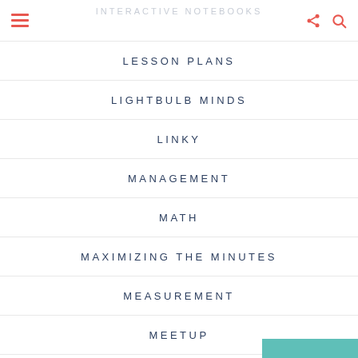INTERACTIVE NOTEBOOKS
LESSON PLANS
LIGHTBULB MINDS
LINKY
MANAGEMENT
MATH
MAXIMIZING THE MINUTES
MEASUREMENT
MEETUP
MEMOIRS
BACK TO TOP